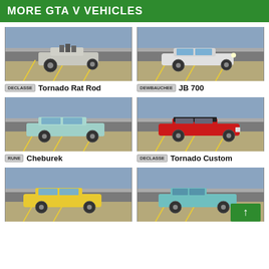MORE GTA V VEHICLES
[Figure (photo): GTA V vehicle: Declasse Tornado Rat Rod - a rat rod style vehicle on a parking lot]
DECLASSE Tornado Rat Rod
[Figure (photo): GTA V vehicle: Dewbauchee JB 700 - a silver classic sports car on a parking lot]
DEWBAUCHEE JB 700
[Figure (photo): GTA V vehicle: Rune Cheburek - a light blue classic sedan on a parking lot]
RUNE Cheburek
[Figure (photo): GTA V vehicle: Declasse Tornado Custom - a red classic muscle car on a parking lot]
DECLASSE Tornado Custom
[Figure (photo): GTA V vehicle: yellow car partially visible at bottom left]
[Figure (photo): GTA V vehicle: teal/light blue car partially visible at bottom right]